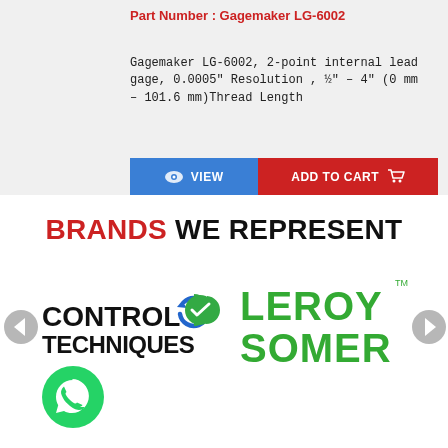Part Number : Gagemaker LG-6002
Gagemaker LG-6002, 2-point internal lead gage, 0.0005" Resolution , ½" – 4" (0 mm – 101.6 mm)Thread Length
VIEW
ADD TO CART
BRANDS WE REPRESENT
[Figure (logo): Control Techniques logo with blue arrow/refresh icon]
[Figure (logo): Leroy Somer logo in green text with TM mark]
[Figure (other): WhatsApp green circle button icon]
[Figure (other): Left navigation arrow button (grey circle)]
[Figure (other): Right navigation arrow button (grey circle)]